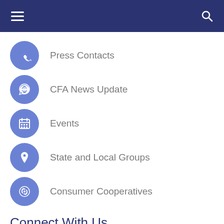Navigation menu header bar
Press Contacts
CFA News Update
Events
State and Local Groups
Consumer Cooperatives
Connect With Us
Twitter